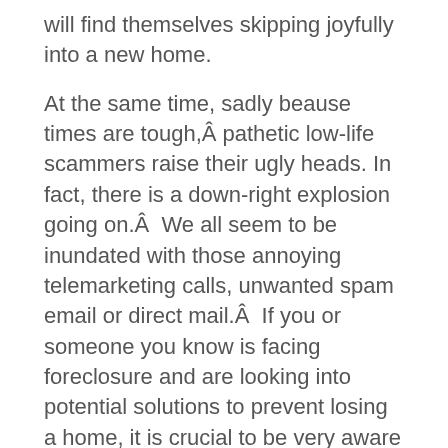will find themselves skipping joyfully into a new home.
At the same time, sadly beause times are tough,Â pathetic low-life scammers raise their ugly heads. In fact, there is a down-right explosion going on.Â  We all seem to be inundated with those annoying telemarketing calls, unwanted spam email or direct mail.Â  If you or someone you know is facing foreclosure and are looking into potential solutions to prevent losing a home, it is crucial to be very aware of deals that sound too good to be true.
The California Association of Realtors has prepared a list of RED FLAG RESCUE SCAMS outlined below.
* Asks for money upfront before providing any service
* Instructs you not to contact your lender, lawyer, housing counselor, or family/friends/other